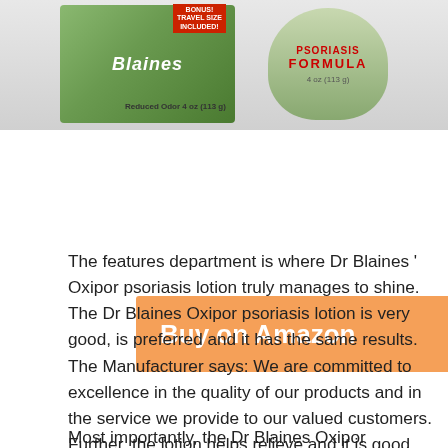[Figure (photo): Product image of Dr Blaines Psoriasis Formula lotion with bonus travel size included label and a jar]
Buy on Amazon
The features department is where Dr Blaines ' Oxipor psoriasis lotion truly manages to shine. The Dr Blaines Oxipor psoriasis lotion is very good, is preferred and it has the same results. The Manufacturer says: We are committed to excellence in the quality of our products and in the service we provide to our valued customers. Further, the lotion helps relieve and it is good for relief from eczema.
Most importantly, the Dr Blaines Oxipor